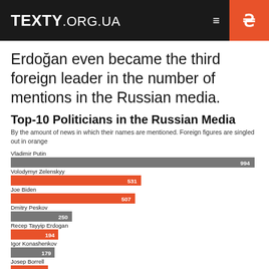TEXTY.ORG.UA
Erdoğan even became the third foreign leader in the number of mentions in the Russian media.
Top-10 Politicians in the Russian Media
By the amount of news in which their names are mentioned. Foreign figures are singled out in orange
[Figure (bar-chart): Top-10 Politicians in the Russian Media]